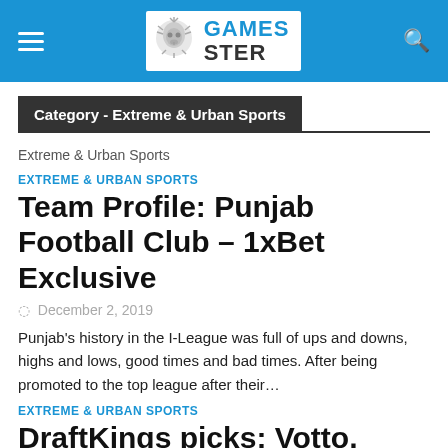GAMES STER
Category - Extreme & Urban Sports
Extreme & Urban Sports
EXTREME & URBAN SPORTS
Team Profile: Punjab Football Club – 1xBet Exclusive
December 2, 2019
Punjab's history in the I-League was full of ups and downs, highs and lows, good times and bad times. After being promoted to the top league after their…
EXTREME & URBAN SPORTS
DraftKings picks: Votto,